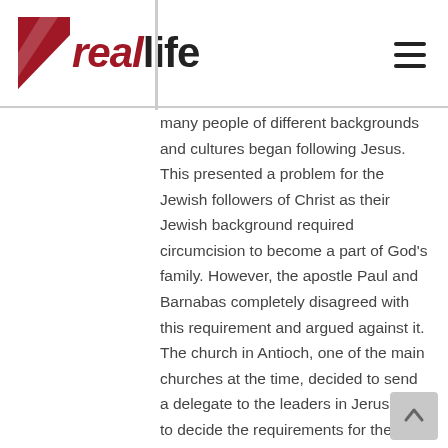real life
many people of different backgrounds and cultures began following Jesus. This presented a problem for the Jewish followers of Christ as their Jewish background required circumcision to become a part of God's family. However, the apostle Paul and Barnabas completely disagreed with this requirement and argued against it. The church in Antioch, one of the main churches at the time, decided to send a delegate to the leaders in Jerusalem to decide the requirements for these new gentile believers.
A council of the apostles and elders gathered in Jerusalem to address this difficult issue